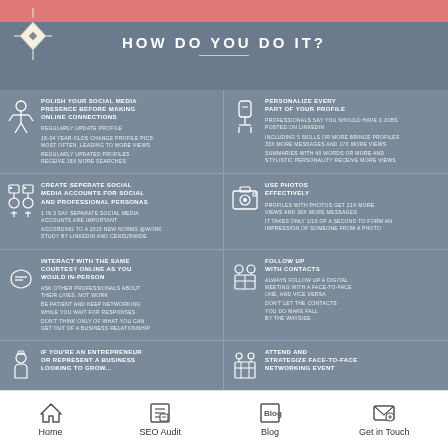HOW DO YOU DO IT?
[Figure (infographic): Infographic with 8 sections giving social media networking tips: Polish Your Social Media Presence, Personalize Every Part of Your Profile, Create Separate Social Media Accounts for Social and Professional Personas, Use Photos Effectively, Interact With The Same Courtesy Online As You Would In-Person, Follow Up With Contacts, If You're an Entrepreneur or Represent a Business Looking to Grow..., Attend and Strategize Face-To-Face Networking Event]
Home | SEO Audit | Blog | Get in Touch